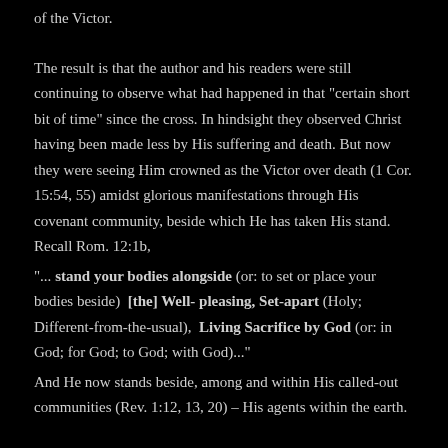of the Victor.
The result is that the author and his readers were still continuing to observe what had happened in that "certain short bit of time" since the cross. In hindsight they observed Christ having been made less by His suffering and death. But now they were seeing Him crowned as the Victor over death (1 Cor. 15:54, 55) amidst glorious manifestations through His covenant community, beside which He has taken His stand. Recall Rom. 12:1b,
"... stand your bodies alongside (or: to set or place your bodies beside) [the] Well- pleasing, Set-apart (Holy; Different-from-the-usual), Living Sacrifice by God (or: in God; for God; to God; with God)..."
And He now stands beside, among and within His called-out communities (Rev. 1:12, 13, 20) – His agents within the earth.
The purpose for all of this was "so that by the grace of and from God